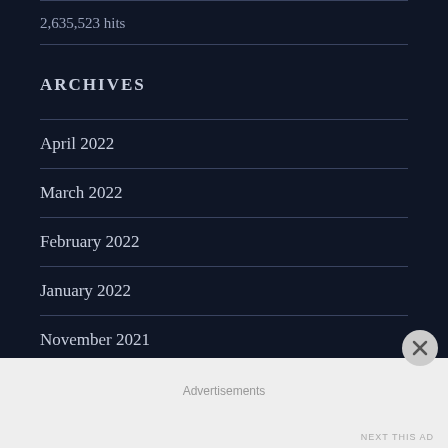2,635,523 hits
ARCHIVES
April 2022
March 2022
February 2022
January 2022
November 2021
Advertisements
NEXT THIS AD